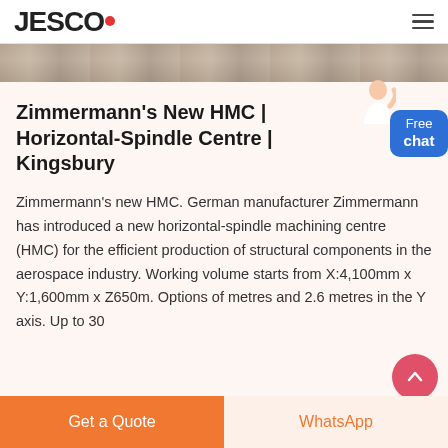JESCO
[Figure (photo): Partial view of a machining or industrial environment, photo strip cropped at top]
Zimmermann's New HMC | Horizontal-Spindle Centre | Kingsbury
Zimmermann's new HMC. German manufacturer Zimmermann has introduced a new horizontal-spindle machining centre (HMC) for the efficient production of structural components in the aerospace industry. Working volume starts from X:4,100mm x Y:1,600mm x Z650m. Options of metres and 2.6 metres in the Y axis. Up to 30
Get a Quote  WhatsApp